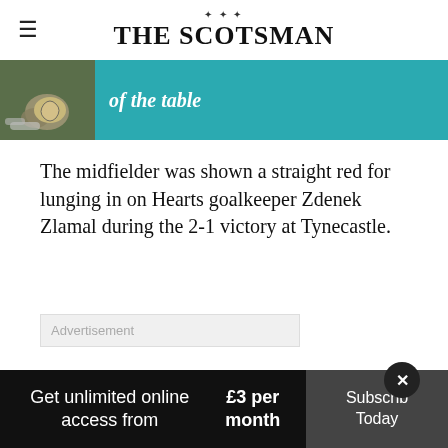THE SCOTSMAN
[Figure (screenshot): Partial promo banner showing a football/sports image on the left and teal background with partial text 'of the table' on the right]
The midfielder was shown a straight red for lunging in on Hearts goalkeeper Zdenek Zlamal during the 2-1 victory at Tynecastle.
Advertisement
Gerrard was
Get unlimited online access from £3 per month
Subscribe Today